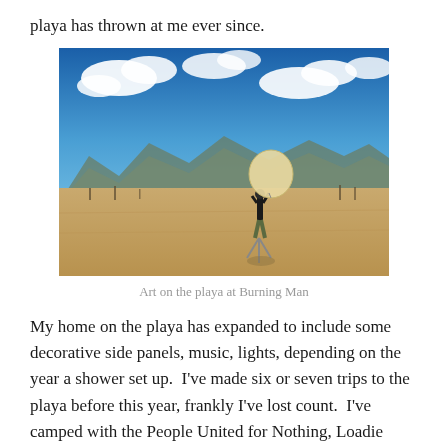playa has thrown at me ever since.
[Figure (photo): A person standing on a flat desert playa holding or releasing a large white weather balloon, with mountains and blue sky with clouds in the background. Burning Man art installation context.]
Art on the playa at Burning Man
My home on the playa has expanded to include some decorative side panels, music, lights, depending on the year a shower set up.  I've made six or seven trips to the playa before this year, frankly I've lost count.  I've camped with the People United for Nothing, Loadie Camp, on my